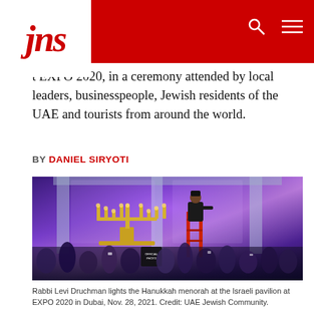JNS
t EXPO 2020, in a ceremony attended by local leaders, businesspeople, Jewish residents of the UAE and tourists from around the world.
BY DANIEL SIRYOTI
[Figure (photo): Rabbi Levi Druchman lights the Hanukkah menorah at the Israeli pavilion at EXPO 2020 in Dubai, Nov. 28, 2021. A large golden menorah is visible on stage with a man in black standing on a red ladder. A crowd of people is gathered below.]
Rabbi Levi Druchman lights the Hanukkah menorah at the Israeli pavilion at EXPO 2020 in Dubai, Nov. 28, 2021. Credit: UAE Jewish Community.